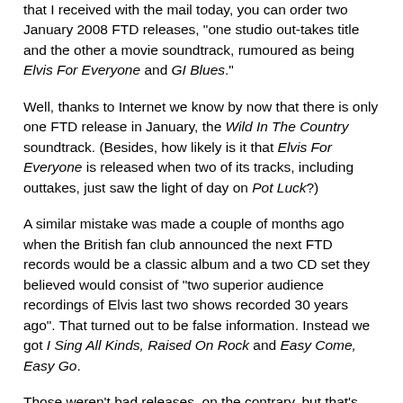that I received with the mail today, you can order two January 2008 FTD releases, "one studio out-takes title and the other a movie soundtrack, rumoured as being Elvis For Everyone and GI Blues."
Well, thanks to Internet we know by now that there is only one FTD release in January, the Wild In The Country soundtrack. (Besides, how likely is it that Elvis For Everyone is released when two of its tracks, including outtakes, just saw the light of day on Pot Luck?)
A similar mistake was made a couple of months ago when the British fan club announced the next FTD records would be a classic album and a two CD set they believed would consist of "two superior audience recordings of Elvis last two shows recorded 30 years ago". That turned out to be false information. Instead we got I Sing All Kinds, Raised On Rock and Easy Come, Easy Go.
Those weren't bad releases, on the contrary, but that's not the point. The point is that the fan club looses credibility when they get our hopes up with information that isn't